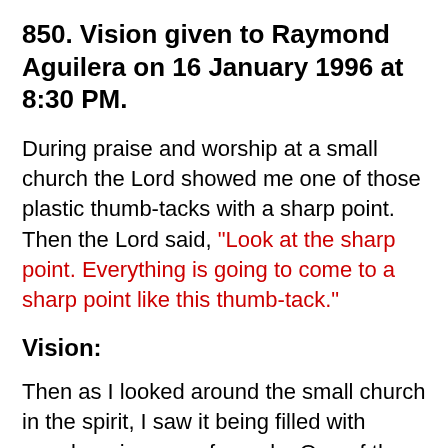850. Vision given to Raymond Aguilera on 16 January 1996 at 8:30 PM.
During praise and worship at a small church the Lord showed me one of those plastic thumb-tacks with a sharp point. Then the Lord said, "Look at the sharp point. Everything is going to come to a sharp point like this thumb-tack."
Vision:
Then as I looked around the small church in the spirit, I saw it being filled with people or images of people. One of the brothers later said that they were